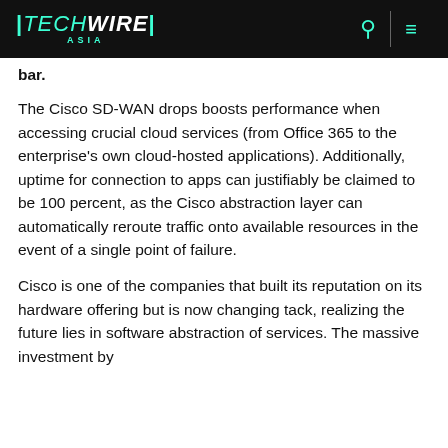TechWire Asia
bar.
The Cisco SD-WAN drops boosts performance when accessing crucial cloud services (from Office 365 to the enterprise's own cloud-hosted applications). Additionally, uptime for connection to apps can justifiably be claimed to be 100 percent, as the Cisco abstraction layer can automatically reroute traffic onto available resources in the event of a single point of failure.
Cisco is one of the companies that built its reputation on its hardware offering but is now changing tack, realizing the future lies in software abstraction of services. The massive investment by the enterprise hardware players for Cisco's is now